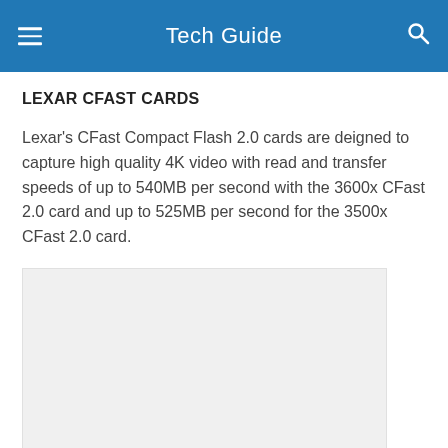Tech Guide
LEXAR CFAST CARDS
Lexar's CFast Compact Flash 2.0 cards are deigned to capture high quality 4K video with read and transfer speeds of up to 540MB per second with the 3600x CFast 2.0 card and up to 525MB per second for the 3500x CFast 2.0 card.
[Figure (photo): Image placeholder area for Lexar CFast card product photo]